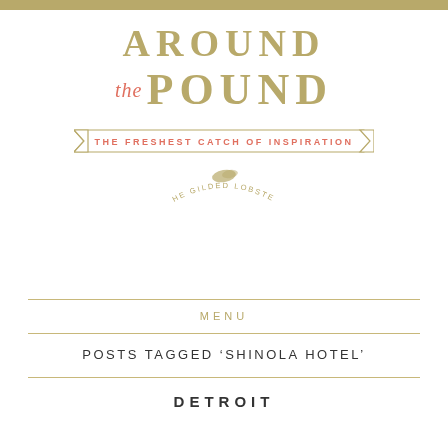AROUND the POUND
THE FRESHEST CATCH OF INSPIRATION
THE GILDED LOBSTER
MENU
POSTS TAGGED ‘SHINOLA HOTEL’
DETROIT